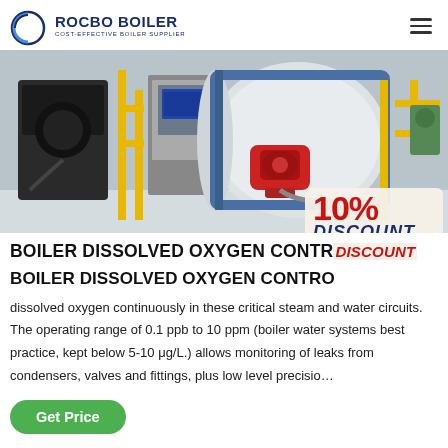ROCBO BOILER — COST-EFFECTIVE BOILER SUPPLIER
[Figure (photo): Industrial boiler room with multiple boilers, yellow gas pipes, black and white horizontal boiler tanks, and a red burner unit. A 10% DISCOUNT badge is overlaid at the bottom right.]
BOILER DISSOLVED OXYGEN CONTROL
dissolved oxygen continuously in these critical steam and water circuits. The operating range of 0.1 ppb to 10 ppm (boiler water systems best practice, kept below 5-10 μg/L.) allows monitoring of leaks from condensers, valves and fittings, plus low level precisio…
Get Price